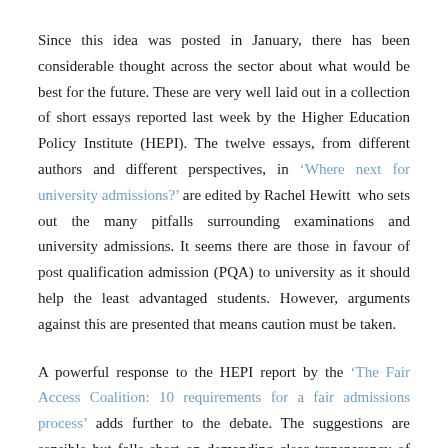Since this idea was posted in January, there has been considerable thought across the sector about what would be best for the future. These are very well laid out in a collection of short essays reported last week by the Higher Education Policy Institute (HEPI). The twelve essays, from different authors and different perspectives, in 'Where next for university admissions?' are edited by Rachel Hewitt who sets out the many pitfalls surrounding examinations and university admissions. It seems there are those in favour of post qualification admission (PQA) to university as it should help the least advantaged students. However, arguments against this are presented that means caution must be taken.
A powerful response to the HEPI report by the 'The Fair Access Coalition: 10 requirements for a fair admissions process' adds further to the debate. The suggestions are sensible but falls short on demanding clear transparency of exactly how the admissions...